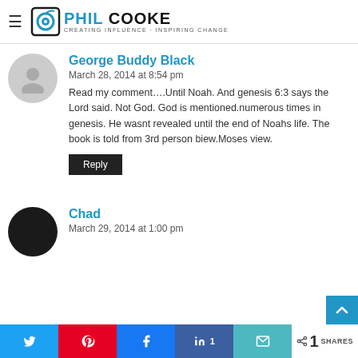Phil Cooke — Creating Influence · Inspiring Change
George Buddy Black
March 28, 2014 at 8:54 pm
Read my comment….Until Noah. And genesis 6:3 says the Lord said. Not God. God is mentioned.numerous times in genesis. He wasnt revealed until the end of Noahs life. The book is told from 3rd person biew.Moses view.
Chad
March 29, 2014 at 1:00 pm
Share buttons: Twitter, Pinterest, Facebook, LinkedIn (1), Email | < 1 SHARES